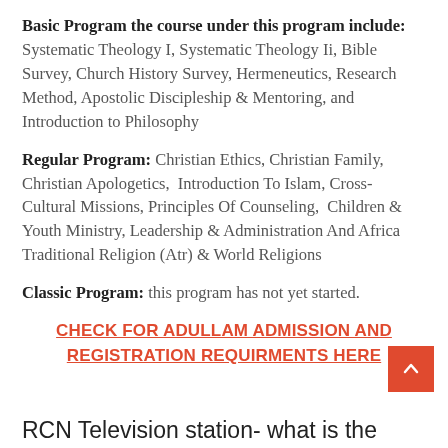Basic Program the course under this program include: Systematic Theology I, Systematic Theology Ii, Bible Survey, Church History Survey, Hermeneutics, Research Method, Apostolic Discipleship & Mentoring, and Introduction to Philosophy
Regular Program: Christian Ethics, Christian Family, Christian Apologetics, Introduction To Islam, Cross-Cultural Missions, Principles Of Counseling, Children & Youth Ministry, Leadership & Administration And Africa Traditional Religion (Atr) & World Religions
Classic Program: this program has not yet started.
CHECK FOR ADULLAM ADMISSION AND REGISTRATION REQUIRMENTS HERE
RCN Television station- what is the